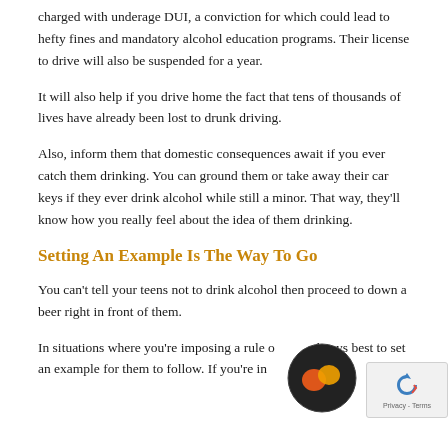charged with underage DUI, a conviction for which could lead to hefty fines and mandatory alcohol education programs. Their license to drive will also be suspended for a year.
It will also help if you drive home the fact that tens of thousands of lives have already been lost to drunk driving.
Also, inform them that domestic consequences await if you ever catch them drinking. You can ground them or take away their car keys if they ever drink alcohol while still a minor. That way, they'll know how you really feel about the idea of them drinking.
Setting An Example Is The Way To Go
You can't tell your teens not to drink alcohol then proceed to down a beer right in front of them.
In situations where you're imposing a rule o... it's always best to set an example for them to follow. If you're in